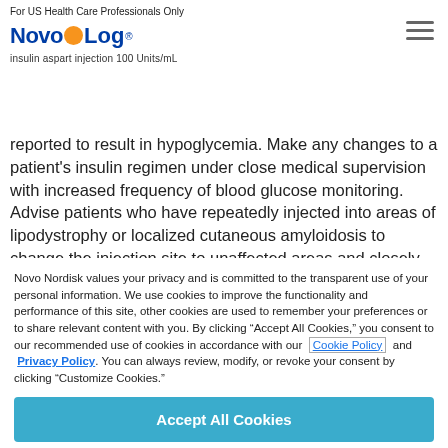For US Health Care Professionals Only
[Figure (logo): NovoLog insulin aspart injection 100 Units/mL logo with orange circle between Novo and Log, and hamburger menu icon]
reported to result in hypoglycemia. Make any changes to a patient's insulin regimen under close medical supervision with increased frequency of blood glucose monitoring. Advise patients who have repeatedly injected into areas of lipodystrophy or localized cutaneous amyloidosis to change the injection site to unaffected areas and closely monitor for
Novo Nordisk values your privacy and is committed to the transparent use of your personal information. We use cookies to improve the functionality and performance of this site, other cookies are used to remember your preferences or to share relevant content with you. By clicking “Accept All Cookies,” you consent to our recommended use of cookies in accordance with our Cookie Policy and Privacy Policy. You can always review, modify, or revoke your consent by clicking “Customize Cookies.”
Accept All Cookies
Customize Cookies